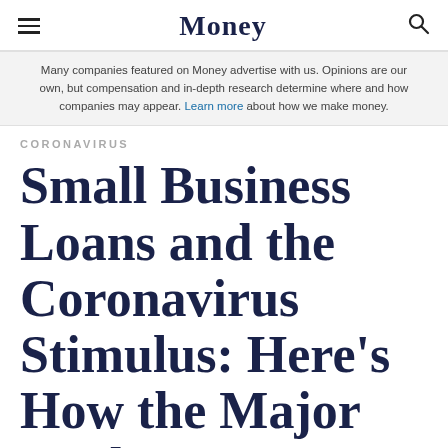Money
Many companies featured on Money advertise with us. Opinions are our own, but compensation and in-depth research determine where and how companies may appear. Learn more about how we make money.
CORONAVIRUS
Small Business Loans and the Coronavirus Stimulus: Here's How the Major Banks Are Handling PPP Applications